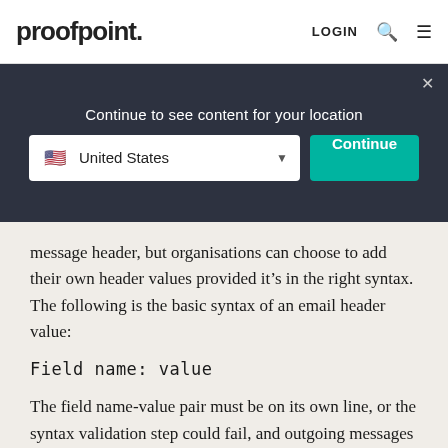proofpoint. LOGIN
Continue to see content for your location
United States  Continue
message header, but organisations can choose to add their own header values provided it’s in the right syntax. The following is the basic syntax of an email header value:
The field name-value pair must be on its own line, or the syntax validation step could fail, and outgoing messages will never be sent. Several security standards have been created for email to stop spoofing and phishing. These security headers are also appended to outgoing messages to validate that the sender email address is legitimate and